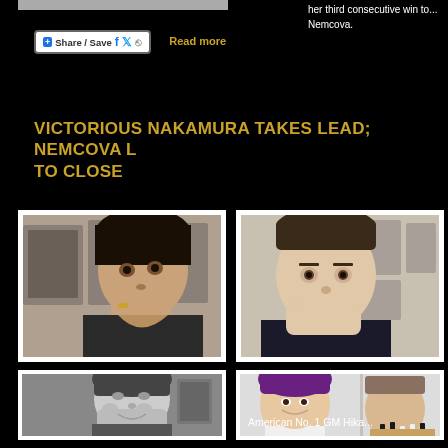her third consecutive win to... Nemcova.
Share / Save  Read more
VICTORIOUS NAKAMURA TAKES LEAD; NEMCOVA LEADS TO CLOSE
[Figure (photo): Chess player (Nakamura) looking up, thinking, hand near face]
[Figure (photo): Chess player (Magnus Carlsen) sitting at table, thinking with hand near face]
[Figure (photo): Black and white photo of chess player thinking, hands near face]
[Figure (photo): Woman with purple hair at chess board thinking]
American No. 1 GM Hika...